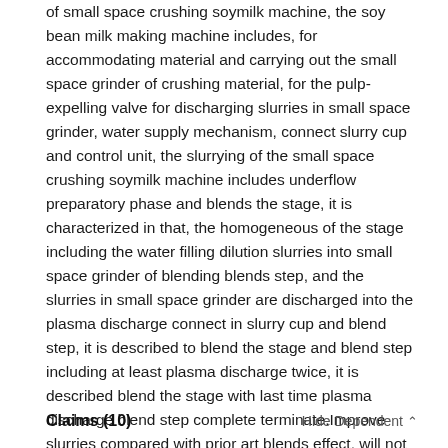of small space crushing soymilk machine, the soy bean milk making machine includes, for accommodating material and carrying out the small space grinder of crushing material, for the pulp-expelling valve for discharging slurries in small space grinder, water supply mechanism, connect slurry cup and control unit, the slurrying of the small space crushing soymilk machine includes underflow preparatory phase and blends the stage, it is characterized in that, the homogeneous of the stage including the water filling dilution slurries into small space grinder of blending blends step, and the slurries in small space grinder are discharged into the plasma discharge connect in slurry cup and blend step, it is described to blend the stage and blend step including at least plasma discharge twice, it is described blend the stage with last time plasma discharge blend step complete terminate.Improve slurries compared with prior art blends effect, will not lump and be layered, and improves the quality of slurries, good in taste.
Claims (10)
Hide Dependent